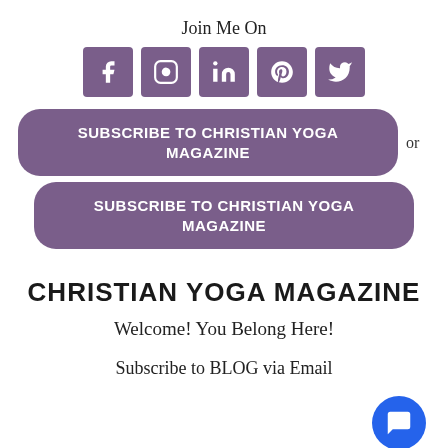Join Me On
[Figure (infographic): Five social media icons in purple squares: Facebook (f), Instagram (camera), LinkedIn (in), Pinterest (p), Twitter (bird)]
SUBSCRIBE TO CHRISTIAN YOGA MAGAZINE
or
SUBSCRIBE TO CHRISTIAN YOGA MAGAZINE
CHRISTIAN YOGA MAGAZINE
Welcome! You Belong Here!
Subscribe to BLOG via Email